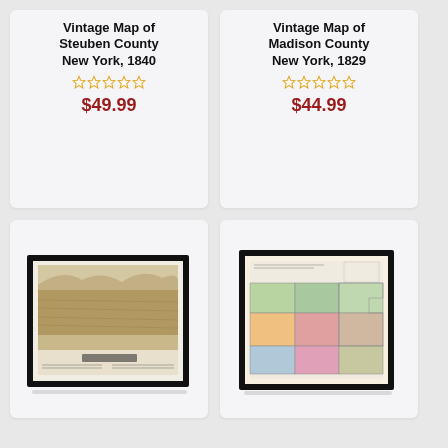Vintage Map of Steuben County New York, 1840
★★★★★ (0 reviews)
$49.99
Vintage Map of Madison County New York, 1829
★★★★★ (0 reviews)
$44.99
[Figure (photo): Framed vintage bird's-eye view / panoramic map in black frame with sepia tones]
[Figure (photo): Framed vintage county map with colored regions (pink, green, yellow) in black frame]